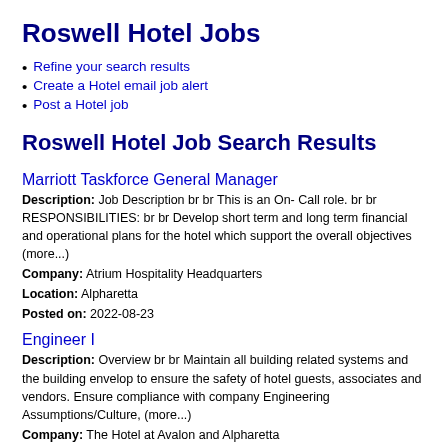Roswell Hotel Jobs
Refine your search results
Create a Hotel email job alert
Post a Hotel job
Roswell Hotel Job Search Results
Marriott Taskforce General Manager
Description: Job Description br br This is an On- Call role. br br RESPONSIBILITIES: br br Develop short term and long term financial and operational plans for the hotel which support the overall objectives (more...)
Company: Atrium Hospitality Headquarters
Location: Alpharetta
Posted on: 2022-08-23
Engineer I
Description: Overview br br Maintain all building related systems and the building envelop to ensure the safety of hotel guests, associates and vendors. Ensure compliance with company Engineering Assumptions/Culture, (more...)
Company: The Hotel at Avalon and Alpharetta